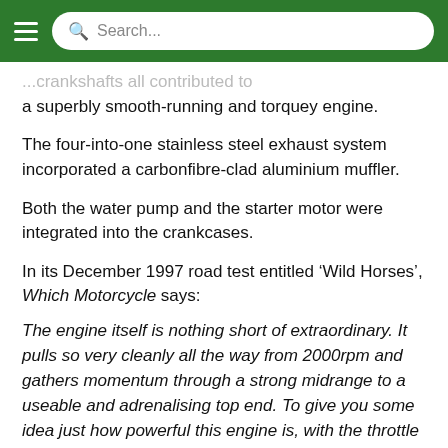Search...
...and with their crankshafts all contributed to a superbly smooth-running and torquey engine.
The four-into-one stainless steel exhaust system incorporated a carbonfibre-clad aluminium muffler.
Both the water pump and the starter motor were integrated into the crankcases.
In its December 1997 road test entitled ‘Wild Horses’, Which Motorcycle says:
The engine itself is nothing short of extraordinary. It pulls so very cleanly all the way from 2000rpm and gathers momentum through a strong midrange to a useable and adrenalising top end. To give you some idea just how powerful this engine is, with the throttle held anywhere past ¾ the front wheel starts to lose traction from as low as four grand on the tacho – despite the trendy swing arm, continuing to move...